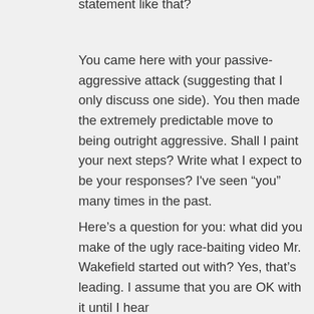statement like that?
You came here with your passive-aggressive attack (suggesting that I only discuss one side). You then made the extremely predictable move to being outright aggressive. Shall I paint your next steps? Write what I expect to be your responses? I’ve seen “you” many times in the past.
Here’s a question for you: what did you make of the ugly race-baiting video Mr. Wakefield started out with? Yes, that’s leading. I assume that you are OK with it until I hear